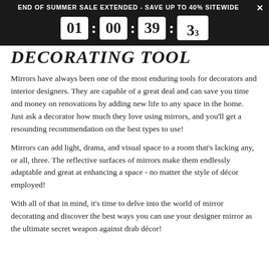END OF SUMMER SALE EXTENDED - SAVE UP TO 40% SITEWIDE
DECORATING TOOL
Mirrors have always been one of the most enduring tools for decorators and interior designers. They are capable of a great deal and can save you time and money on renovations by adding new life to any space in the home. Just ask a decorator how much they love using mirrors, and you'll get a resounding recommendation on the best types to use!
Mirrors can add light, drama, and visual space to a room that's lacking any, or all, three. The reflective surfaces of mirrors make them endlessly adaptable and great at enhancing a space - no matter the style of décor employed!
With all of that in mind, it's time to delve into the world of mirror decorating and discover the best ways you can use your designer mirror as the ultimate secret weapon against drab décor!